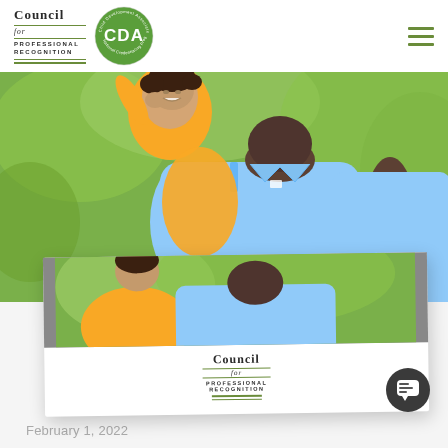[Figure (logo): Council for Professional Recognition logo with CDA circular badge]
[Figure (photo): An adult man in a light blue polo shirt holding a young child in a yellow outfit outdoors with green foliage background. Below the photo is a Council for Professional Recognition logo on white background, styled as a polaroid card.]
February 1, 2022